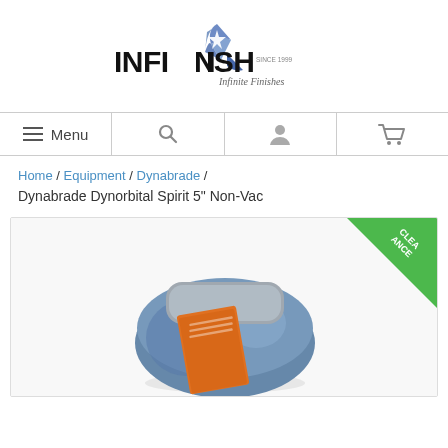[Figure (logo): INFINISH logo with spinning star graphic and text 'Infinite Finishes' and 'SINCE 1999']
[Figure (infographic): Navigation bar with hamburger Menu icon, search icon, user account icon, and shopping cart icon]
Home / Equipment / Dynabrade / Dynabrade Dynorbital Spirit 5" Non-Vac
[Figure (photo): Product photo of Dynabrade Dynorbital Spirit 5 inch Non-Vac sander, blue body with gray top pad, orange safety label, with a green CLEARANCE corner banner]